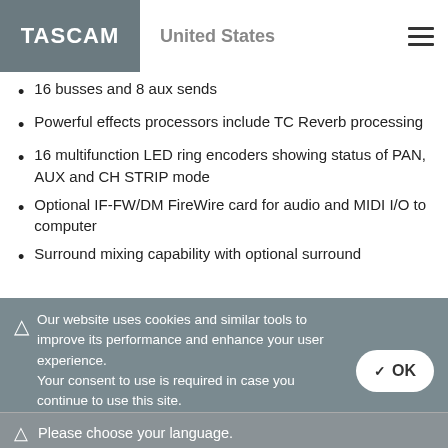TASCAM | United States
16 busses and 8 aux sends
Powerful effects processors include TC Reverb processing
16 multifunction LED ring encoders showing status of PAN, AUX and CH STRIP mode
Optional IF-FW/DM FireWire card for audio and MIDI I/O to computer
Surround mixing capability with optional surround
Our website uses cookies and similar tools to improve its performance and enhance your user experience. Your consent to use is required in case you continue to use this site. For more information click here.
Please choose your language.